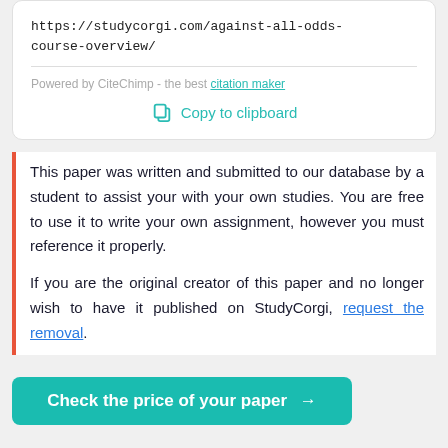https://studycorgi.com/against-all-odds-course-overview/
Powered by CiteChimp - the best citation maker
Copy to clipboard
This paper was written and submitted to our database by a student to assist your with your own studies. You are free to use it to write your own assignment, however you must reference it properly.
If you are the original creator of this paper and no longer wish to have it published on StudyCorgi, request the removal.
Check the price of your paper →